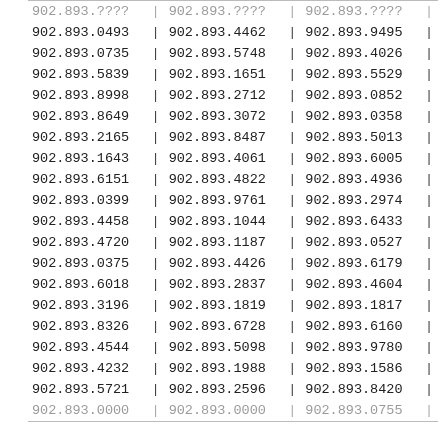| 902.893.0493 | | | 902.893.4462 | | | 902.893.9495 | | |
| 902.893.0735 | | | 902.893.5748 | | | 902.893.4026 | | |
| 902.893.5839 | | | 902.893.1651 | | | 902.893.5529 | | |
| 902.893.8998 | | | 902.893.2712 | | | 902.893.0852 | | |
| 902.893.8649 | | | 902.893.3072 | | | 902.893.0358 | | |
| 902.893.2165 | | | 902.893.8487 | | | 902.893.5013 | | |
| 902.893.1643 | | | 902.893.4061 | | | 902.893.6005 | | |
| 902.893.6151 | | | 902.893.4822 | | | 902.893.4936 | | |
| 902.893.0399 | | | 902.893.9761 | | | 902.893.2974 | | |
| 902.893.4458 | | | 902.893.1044 | | | 902.893.6433 | | |
| 902.893.4720 | | | 902.893.1187 | | | 902.893.0527 | | |
| 902.893.0375 | | | 902.893.4426 | | | 902.893.6179 | | |
| 902.893.6018 | | | 902.893.2837 | | | 902.893.4604 | | |
| 902.893.3196 | | | 902.893.1819 | | | 902.893.1817 | | |
| 902.893.8326 | | | 902.893.6728 | | | 902.893.6160 | | |
| 902.893.4544 | | | 902.893.5098 | | | 902.893.9780 | | |
| 902.893.4232 | | | 902.893.1988 | | | 902.893.1586 | | |
| 902.893.5721 | | | 902.893.2596 | | | 902.893.8420 | | |
| 902.893.0000 | | | 902.893.0000 | | | 902.893.0755 | | |